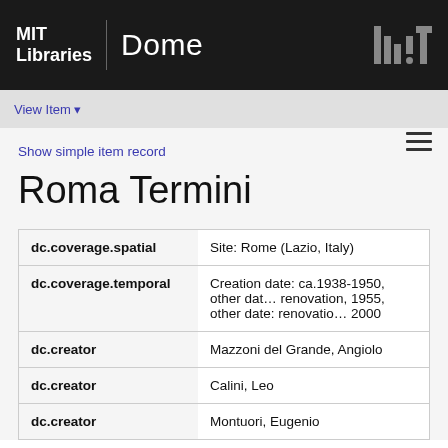MIT Libraries | Dome
View Item
Show simple item record
Roma Termini
| Field | Value |
| --- | --- |
| dc.coverage.spatial | Site: Rome (Lazio, Italy) |
| dc.coverage.temporal | Creation date: ca.1938-1950, other date: renovation, 1955, other date: renovation 2000 |
| dc.creator | Mazzoni del Grande, Angiolo |
| dc.creator | Calini, Leo |
| dc.creator | Montuori, Eugenio |